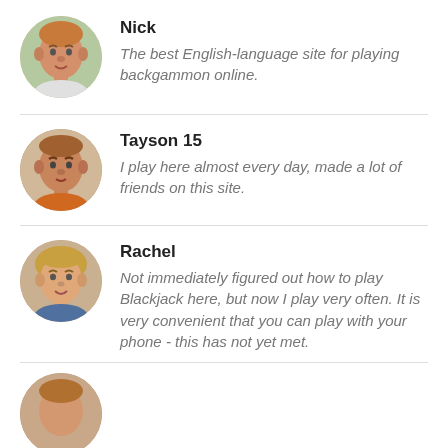[Figure (illustration): Circular avatar photo of a young man named Nick, outdoors background]
Nick
The best English-language site for playing backgammon online.
[Figure (illustration): Circular avatar photo of a young man named Tayson 15, wearing an orange shirt]
Tayson 15
I play here almost every day, made a lot of friends on this site.
[Figure (illustration): Circular avatar photo of a woman named Rachel, smiling]
Rachel
Not immediately figured out how to play Blackjack here, but now I play very often. It is very convenient that you can play with your phone - this has not yet met.